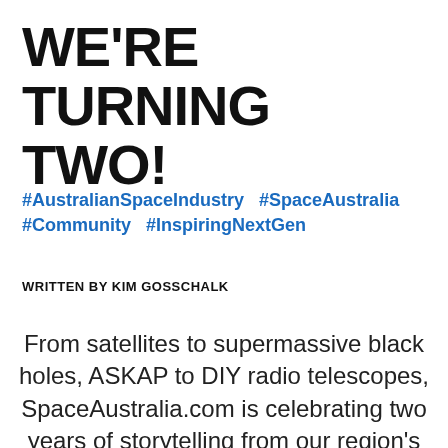WE'RE TURNING TWO!
#AustralianSpaceIndustry  #SpaceAustralia  #Community  #InspiringNextGen
WRITTEN BY KIM GOSSCHALK
From satellites to supermassive black holes, ASKAP to DIY radio telescopes, SpaceAustralia.com is celebrating two years of storytelling from our region's space communities and inspiring the next generation in